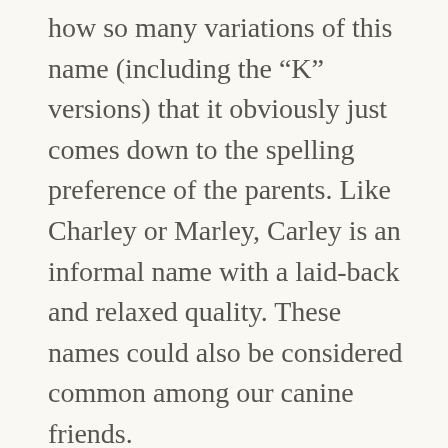how so many variations of this name (including the “K” versions) that it obviously just comes down to the spelling preference of the parents. Like Charley or Marley, Carley is an informal name with a laid-back and relaxed quality. These names could also be considered common among our canine friends.